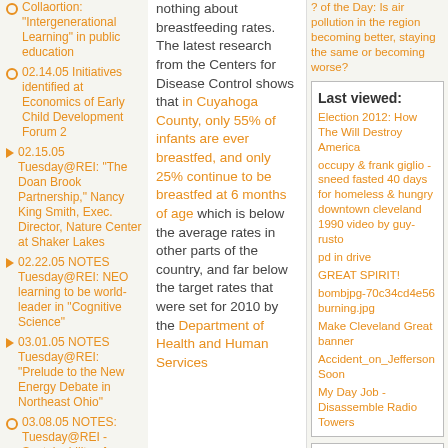Collaortion: "Intergenerational Learning" in public education
02.14.05 Initiatives identified at Economics of Early Child Development Forum 2
02.15.05 Tuesday@REI: "The Doan Brook Partnership," Nancy King Smith, Exec. Director, Nature Center at Shaker Lakes
02.22.05 NOTES Tuesday@REI: NEO learning to be world-leader in "Cognitive Science"
03.01.05 NOTES Tuesday@REI: "Prelude to the New Energy Debate in Northeast Ohio"
03.08.05 NOTES: Tuesday@REI - Sustainability of sustainability -
nothing about breastfeeding rates. The latest research from the Centers for Disease Control shows that in Cuyahoga County, only 55% of infants are ever breastfed, and only 25% continue to be breastfed at 6 months of age which is below the average rates in other parts of the country, and far below the target rates that were set for 2010 by the Department of Health and Human Services
? of the Day: Is air pollution in the region becoming better, staying the same or becoming worse?
Last viewed:
Election 2012: How The Will Destroy America
occupy & frank giglio - sneed fasted 40 days for homeless & hungry downtown cleveland 1990 video by guy-rusto
pd in drive
GREAT SPIRIT!
bombjpg-70c34cd4e56 burning.jpg
Make Cleveland Great banner
Accident_on_Jefferson Soon
My Day Job - Disassemble Radio Towers
Recent blog posts
Corruption at WORK!! County proposes plan, property, permanently eliminate sales tax